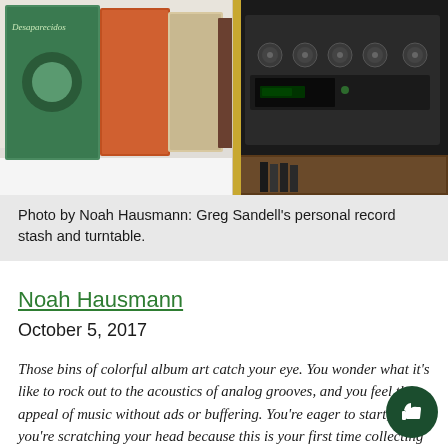[Figure (photo): Photo of vinyl record bins on the left with colorful album covers, and a vintage stereo/turntable unit on the right side. The records are stored in white wooden shelving.]
Photo by Noah Hausmann: Greg Sandell's personal record stash and turntable.
Noah Hausmann
October 5, 2017
Those bins of colorful album art catch your eye. You wonder what it's like to rock out to the acoustics of analog grooves, and you feel the appeal of music without ads or buffering. You're eager to start, but you're scratching your head because this is your first time collecting vinyl. Here's some friendly advice with help from local record enthusiasts Jon Teichman and Greg Sandell.